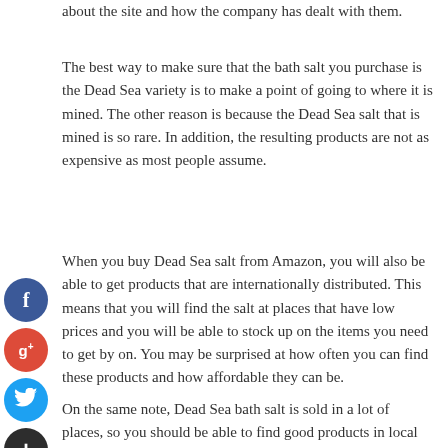about the site and how the company has dealt with them.
The best way to make sure that the bath salt you purchase is the Dead Sea variety is to make a point of going to where it is mined. The other reason is because the Dead Sea salt that is mined is so rare. In addition, the resulting products are not as expensive as most people assume.
When you buy Dead Sea salt from Amazon, you will also be able to get products that are internationally distributed. This means that you will find the salt at places that have low prices and you will be able to stock up on the items you need to get by on. You may be surprised at how often you can find these products and how affordable they can be.
On the same note, Dead Sea bath salt is sold in a lot of places, so you should be able to find good products in local